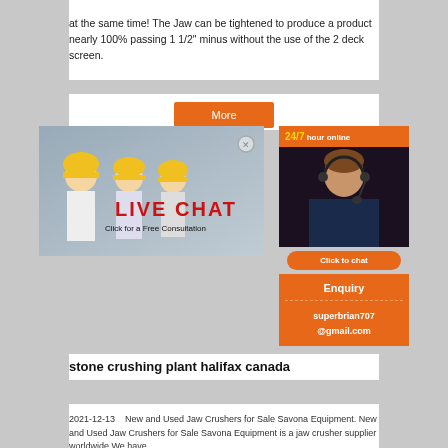at the same time! The Jaw can be tightened to produce a product nearly 100% passing 1 1/2" minus without the use of the 2 deck screen.
[Figure (other): Orange 'More' button]
[Figure (other): Live chat pop-up overlay with workers in hard hats, LIVE CHAT heading, Click for a Free Consultation, Chat now / Chat later buttons. Right panel shows 24/7 hour online with agent photo and Click to chat button. Enquiry panel with superbrian707@gmail.com contact.]
stone crushing plant halifax canada
2021-12-13   New and Used Jaw Crushers for Sale Savona Equipment. New and Used Jaw Crushers for Sale Savona Equipment is a jaw crusher supplier worldwide We have